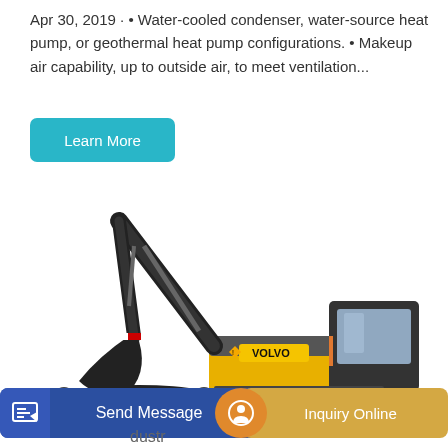Apr 30, 2019 · • Water-cooled condenser, water-source heat pump, or geothermal heat pump configurations. • Makeup air capability, up to outside air, to meet ventilation...
Learn More
[Figure (photo): Volvo excavator (crawler excavator) with black boom and arm, yellow and black body, with cab on right side, tracked undercarriage]
Send Message
Inquiry Online
dustr